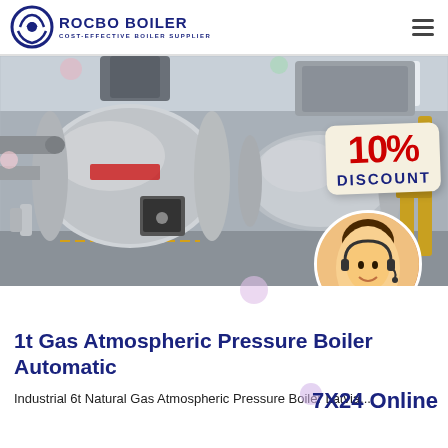[Figure (logo): Rocbo Boiler logo with circular icon and text 'ROCBO BOILER - COST-EFFECTIVE BOILER SUPPLIER']
[Figure (photo): Industrial gas atmospheric pressure boilers in a factory setting, with a 10% DISCOUNT badge overlay and a customer service representative avatar in the bottom right corner]
1t Gas Atmospheric Pressure Boiler Automatic
Industrial 6t Natural Gas Atmospheric Pressure Boiler Latvia...
7X24 Online